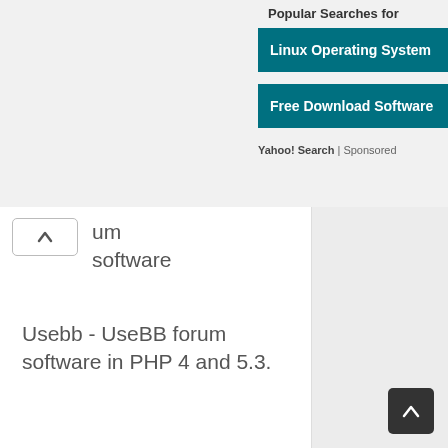Popular Searches for
[Figure (screenshot): Teal button: Linux Operating System]
[Figure (screenshot): Teal button: Free Download Software]
Yahoo! Search | Sponsored
um software
Usebb - UseBB forum software in PHP 4 and 5.3.
Crawltrack - Tracks the visits of Crawler
MyBB